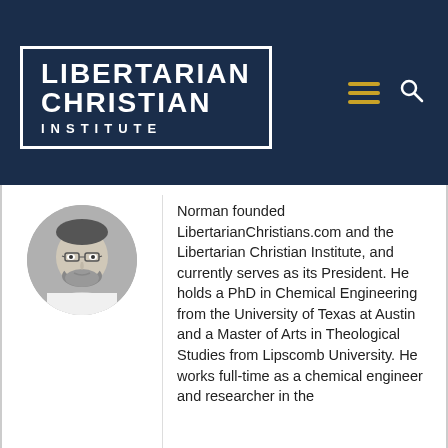[Figure (logo): Libertarian Christian Institute logo — white text on dark navy blue background with white border rectangle. Text reads LIBERTARIAN CHRISTIAN INSTITUTE.]
[Figure (photo): Black and white circular headshot photo of a man with glasses and a beard, wearing a white shirt.]
Norman founded LibertarianChristians.com and the Libertarian Christian Institute, and currently serves as its President. He holds a PhD in Chemical Engineering from the University of Texas at Austin and a Master of Arts in Theological Studies from Lipscomb University. He works full-time as a chemical engineer and researcher in the